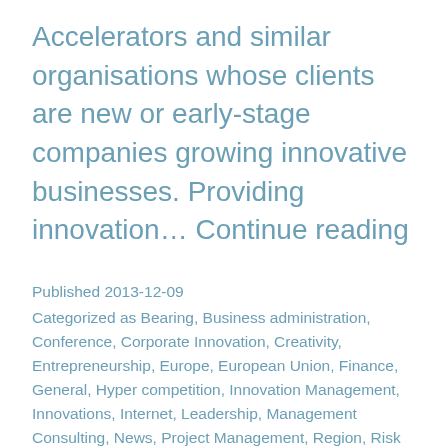Accelerators and similar organisations whose clients are new or early-stage companies growing innovative businesses. Providing innovation… Continue reading
Published 2013-12-09
Categorized as Bearing, Business administration, Conference, Corporate Innovation, Creativity, Entrepreneurship, Europe, European Union, Finance, General, Hyper competition, Innovation Management, Innovations, Internet, Leadership, Management Consulting, News, Project Management, Region, Risk Management, Science and technolgy parks, Science park, Seminar, Smart Specialization, Technology park, Trends, United Kingdom
Tagged EPN, European Business Network,